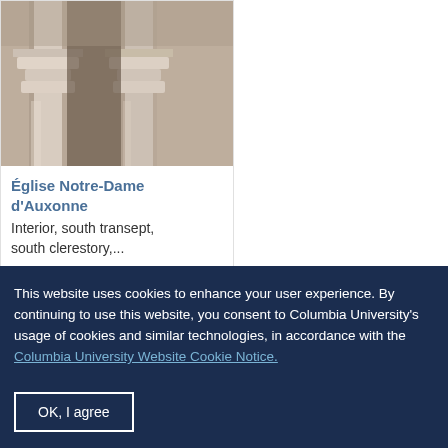[Figure (photo): Stone column capitals inside a Romanesque church — Église Notre-Dame d'Auxonne, interior south transept]
Église Notre-Dame d'Auxonne
Interior, south transept, south clerestory,...
This website uses cookies to enhance your user experience. By continuing to use this website, you consent to Columbia University's usage of cookies and similar technologies, in accordance with the Columbia University Website Cookie Notice.